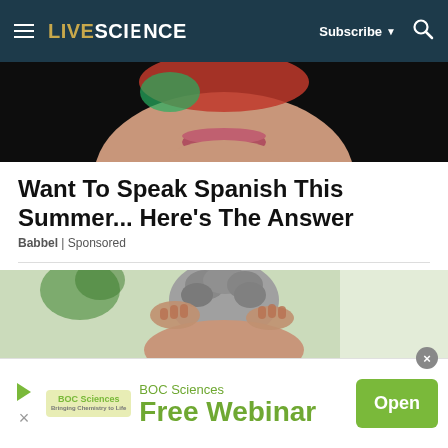LIVESCIENCE | Subscribe | Search
[Figure (photo): Bottom portion of a person's face with lips and chin visible, wearing a colorful head covering, against a dark background]
Want To Speak Spanish This Summer... Here's The Answer
Babbel | Sponsored
[Figure (photo): Elderly person with curly gray hair, hands clasped behind their head, in a bright room with plants in the background]
[Figure (infographic): BOC Sciences advertisement banner with logo, text 'BOC Sciences Free Webinar' and an Open button]